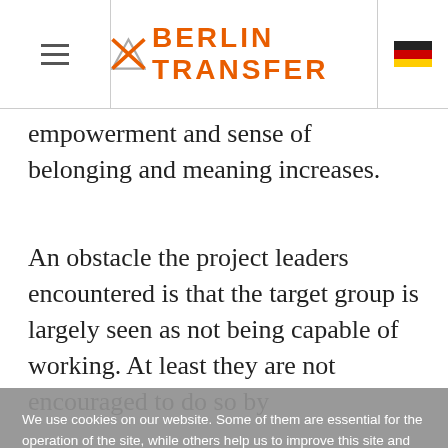BERLIN TRANSFER
empowerment and sense of belonging and meaning increases.
An obstacle the project leaders encountered is that the target group is largely seen as not being capable of working. At least they are not encouraged to do so by
We use cookies on our website. Some of them are essential for the operation of the site, while others help us to improve this site and the user experience (tracking cookies). Likewise, we show external content from Twitter. You can decide for yourself whether you want to allow cookies or external content from Twitter, or not. Please note that if you reject them, you may not be able to use all the functionalities of the site.
OK
DECLINE
More information